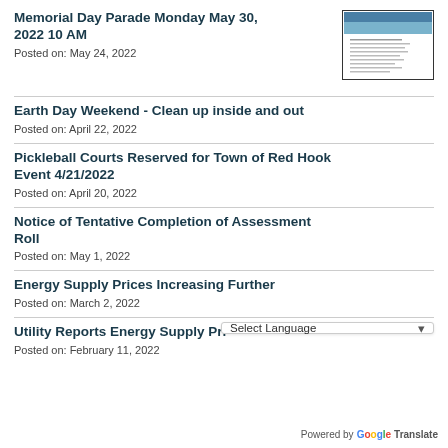Memorial Day Parade Monday May 30, 2022 10 AM
Posted on: May 24, 2022
[Figure (photo): Thumbnail image of a document about Memorial Day Parade with a sky/flag background at top]
Earth Day Weekend - Clean up inside and out
Posted on: April 22, 2022
Pickleball Courts Reserved for Town of Red Hook Event 4/21/2022
Posted on: April 20, 2022
Notice of Tentative Completion of Assessment Roll
Posted on: May 1, 2022
Energy Supply Prices Increasing Further
Posted on: March 2, 2022
Utility Reports Energy Supply Pri…
Posted on: February 11, 2022